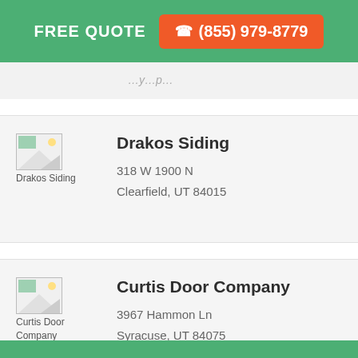FREE QUOTE  ☎ (855) 979-8779
…y…p…
Drakos Siding
318 W 1900 N
Clearfield, UT 84015
Curtis Door Company
3967 Hammon Ln
Syracuse, UT 84075